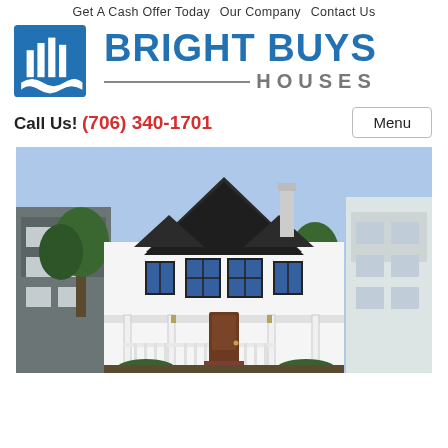Get A Cash Offer Today   Our Company   Contact Us
[Figure (logo): Bright Buys Houses logo with blue building icon and stylized text]
Call Us! (706) 340-1701
[Figure (photo): Exterior photo of a large white colonial-style house with dark-framed windows, covered front porch, brick steps, flanked by other homes and trees under a blue sky]